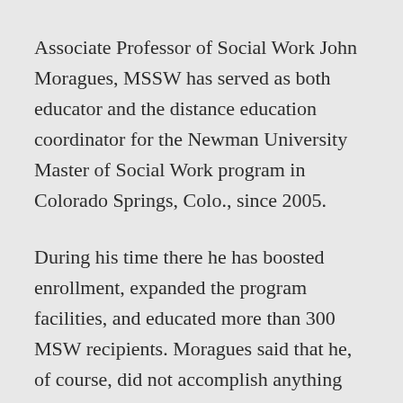Associate Professor of Social Work John Moragues, MSSW has served as both educator and the distance education coordinator for the Newman University Master of Social Work program in Colorado Springs, Colo., since 2005.
During his time there he has boosted enrollment, expanded the program facilities, and educated more than 300 MSW recipients. Moragues said that he, of course, did not accomplish anything without the help and support of Newman faculty, staff, and administration. But many of those same people say